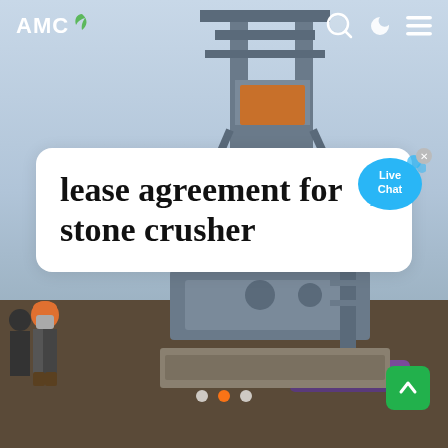[Figure (photo): Industrial stone crusher / mining equipment machinery, steel frame structure, workers visible on left side, industrial site background with hazy sky]
AMC
lease agreement for stone crusher
[Figure (illustration): Live Chat speech bubble icon in blue]